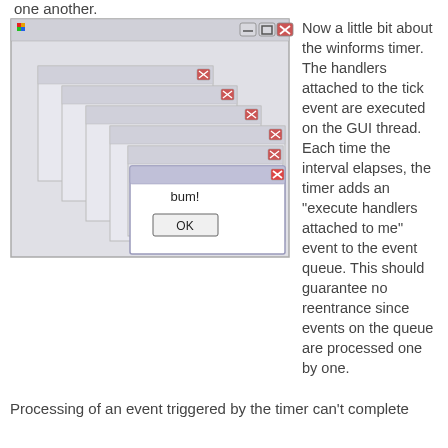one another.
[Figure (screenshot): Screenshot of a Windows application showing stacked dialog windows cascading, with a prominent dialog in front showing 'bum!' message and an OK button.]
Now a little bit about the winforms timer. The handlers attached to the tick event are executed on the GUI thread. Each time the interval elapses, the timer adds an "execute handlers attached to me" event to the event queue. This should guarantee no reentrance since events on the queue are processed one by one.
Processing of an event triggered by the timer can't complete